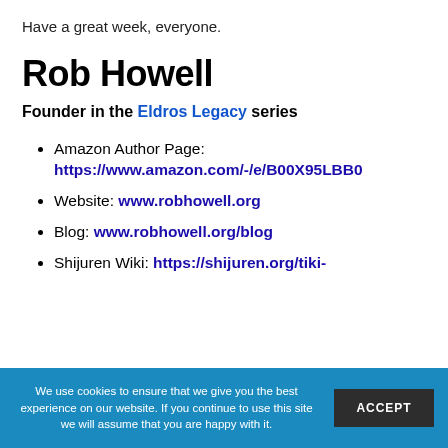Have a great week, everyone.
Rob Howell
Founder in the Eldros Legacy series
Amazon Author Page: https://www.amazon.com/-/e/B00X95LBB0
Website: www.robhowell.org
Blog: www.robhowell.org/blog
Shijuren Wiki: https://shijuren.org/tiki-
We use cookies to ensure that we give you the best experience on our website. If you continue to use this site we will assume that you are happy with it. ACCEPT